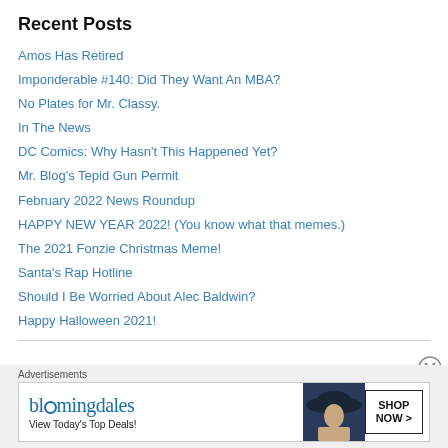Recent Posts
Amos Has Retired
Imponderable #140: Did They Want An MBA?
No Plates for Mr. Classy.
In The News
DC Comics: Why Hasn't This Happened Yet?
Mr. Blog's Tepid Gun Permit
February 2022 News Roundup
HAPPY NEW YEAR 2022! (You know what that memes.)
The 2021 Fonzie Christmas Meme!
Santa's Rap Hotline
Should I Be Worried About Alec Baldwin?
Happy Halloween 2021!
[Figure (other): Bloomingdale's advertisement banner with logo, tagline 'View Today's Top Deals!', photo of woman in hat, and 'SHOP NOW >' button]